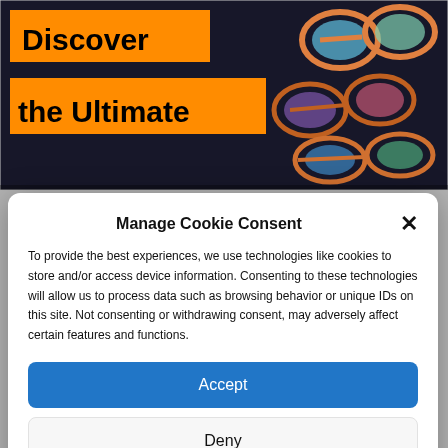[Figure (photo): Background image showing sunglasses on dark background with orange banner text reading 'Discover the Ultimate']
Manage Cookie Consent
To provide the best experiences, we use technologies like cookies to store and/or access device information. Consenting to these technologies will allow us to process data such as browsing behavior or unique IDs on this site. Not consenting or withdrawing consent, may adversely affect certain features and functions.
Accept
Deny
View preferences
Cookie Policy  Privacy Statement